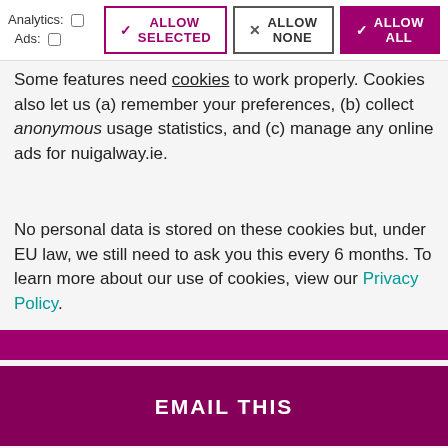[Figure (screenshot): Cookie consent banner with three buttons: ALLOW SELECTED, ALLOW NONE, ALLOW ALL. Top row shows Analytics and Ads checkboxes.]
Some features need cookies to work properly. Cookies also let us (a) remember your preferences, (b) collect anonymous usage statistics, and (c) manage any online ads for nuigalway.ie.
No personal data is stored on these cookies but, under EU law, we still need to ask you this every 6 months. To learn more about our use of cookies, view our Privacy Policy.
SHARE THIS
EMAIL THIS